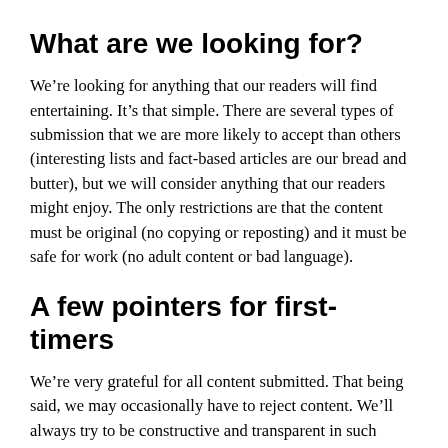What are we looking for?
We’re looking for anything that our readers will find entertaining. It’s that simple. There are several types of submission that we are more likely to accept than others (interesting lists and fact-based articles are our bread and butter), but we will consider anything that our readers might enjoy. The only restrictions are that the content must be original (no copying or reposting) and it must be safe for work (no adult content or bad language).
A few pointers for first-timers
We’re very grateful for all content submitted. That being said, we may occasionally have to reject content. We’ll always try to be constructive and transparent in such situations. We’ll do our best to give you feedback that might help you in the future.